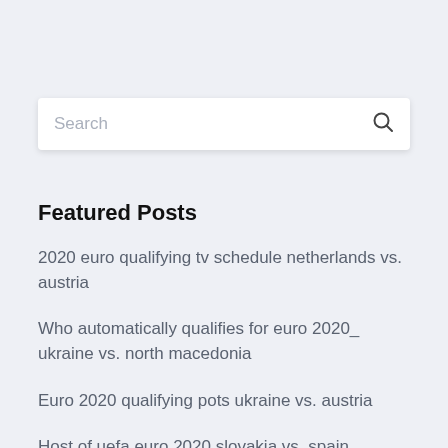[Figure (screenshot): Search input box with placeholder text 'Search' and a search icon on the right]
Featured Posts
2020 euro qualifying tv schedule netherlands vs. austria
Who automatically qualifies for euro 2020_ ukraine vs. north macedonia
Euro 2020 qualifying pots ukraine vs. austria
Host of uefa euro 2020 slovakia vs. spain